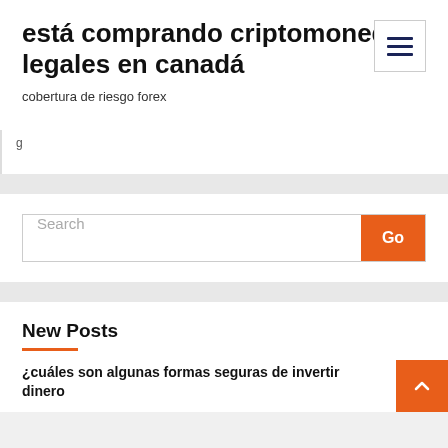está comprando criptomonedas legales en canadá
cobertura de riesgo forex
[Figure (other): Hamburger menu button with three horizontal lines]
g
Search
Go
New Posts
¿cuáles son algunas formas seguras de invertir dinero